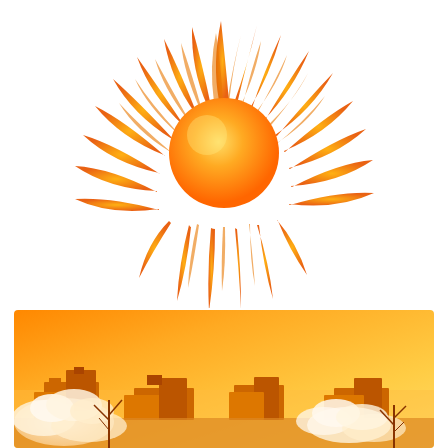[Figure (illustration): Decorative sun illustration with flame-like rays radiating outward in orange and yellow gradient colors on white background. Central circular sun body surrounded by many elongated pointed rays that resemble flames.]
[Figure (illustration): Desert cityscape scene with orange gradient sky, silhouetted adobe/pueblo-style buildings in orange-brown tones, fluffy white clouds in the lower portion, and sparse desert vegetation (bare trees/shrubs) in the foreground.]